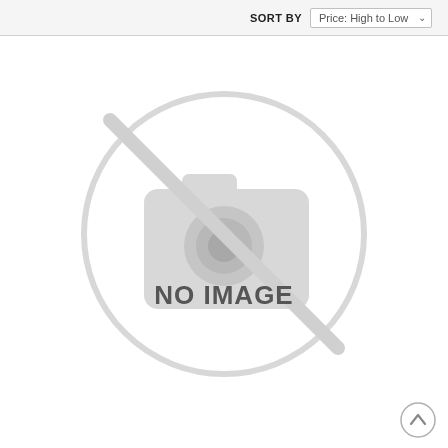SORT BY   Price: High to Low
[Figure (illustration): A large circular 'No Image' placeholder graphic with a camera icon crossed out by a diagonal line, and the text 'NO IMAGE' in the center. The circle and icon are rendered in light gray on a white background.]
[Figure (other): A circular back-to-top button with an upward-pointing chevron arrow, located in the bottom-right corner.]